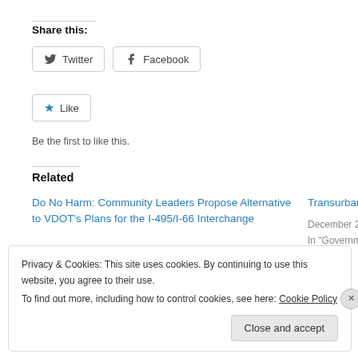Share this:
Twitter  Facebook
★ Like
Be the first to like this.
Related
Do No Harm: Community Leaders Propose Alternative to VDOT's Plans for the I-495/I-66 Interchange
June 7, 2015
Transurban Rea...
December 2, 20...
In "Governmen..."
Privacy & Cookies: This site uses cookies. By continuing to use this website, you agree to their use.
To find out more, including how to control cookies, see here: Cookie Policy
Close and accept